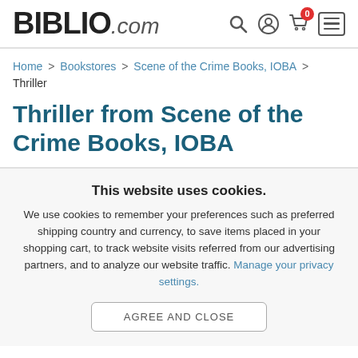BIBLIO.com
Home > Bookstores > Scene of the Crime Books, IOBA > Thriller
Thriller from Scene of the Crime Books, IOBA
This website uses cookies.
We use cookies to remember your preferences such as preferred shipping country and currency, to save items placed in your shopping cart, to track website visits referred from our advertising partners, and to analyze our website traffic. Manage your privacy settings.
AGREE AND CLOSE